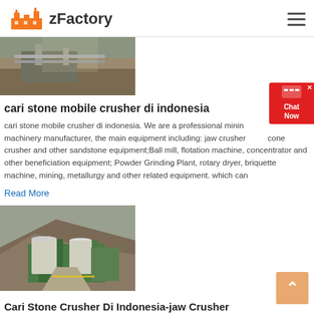zFactory
[Figure (photo): Industrial mining or quarry facility with large pipes and concrete structures, rocky terrain visible]
cari stone mobile crusher di indonesia
cari stone mobile crusher di indonesia. We are a professional mining machinery manufacturer, the main equipment including: jaw crusher, cone crusher and other sandstone equipment;Ball mill, flotation machine, concentrator and other beneficiation equipment; Powder Grinding Plant, rotary dryer, briquette machine, mining, metallurgy and other related equipment. which can
Read More
[Figure (photo): Mining facility with large silos/tanks, green industrial buildings built into hillside with rocky mountain terrain in background]
Cari Stone Crusher Di Indonesia-jaw Crusher